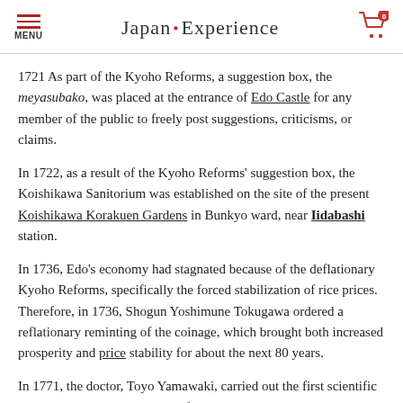Japan Experience
1721 As part of the Kyoho Reforms, a suggestion box, the meyasubako, was placed at the entrance of Edo Castle for any member of the public to freely post suggestions, criticisms, or claims.
In 1722, as a result of the Kyoho Reforms' suggestion box, the Koishikawa Sanitorium was established on the site of the present Koishikawa Korakuen Gardens in Bunkyo ward, near Iidabashi station.
In 1736, Edo's economy had stagnated because of the deflationary Kyoho Reforms, specifically the forced stabilization of rice prices. Therefore, in 1736, Shogun Yoshimune Tokugawa ordered a reflationary reminting of the coinage, which brought both increased prosperity and price stability for about the next 80 years.
In 1771, the doctor, Toyo Yamawaki, carried out the first scientific autopsy in Japan on the body of a criminal executed